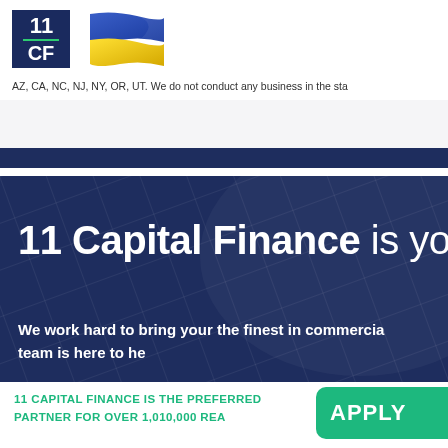[Figure (logo): 11 Capital Finance logo: dark navy blue square with '11' on top, a green horizontal line, and 'CF' below in white text]
[Figure (illustration): Ukrainian flag waving, showing blue top half and yellow bottom half]
AZ, CA, NC, NJ, NY, OR, UT. We do not conduct any business in the sta
11 Capital Finance is yo
We work hard to bring your the finest in commercia team is here to he
11 CAPITAL FINANCE IS THE PREFERRED PARTNER FOR OVER 1,010,000 REA
[Figure (other): Partial green rounded rectangle button with white text 'APPLY']